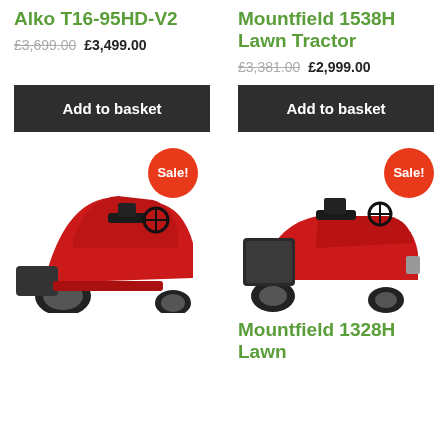Alko T16-95HD-V2
£3,699.00 £3,499.00
Add to basket
Mountfield 1538H Lawn Tractor
£3,381.00 £2,999.00
Add to basket
[Figure (photo): Red Alko T16-95HD-V2 ride-on lawn tractor with black seat and grass collector, shown in left product card with Sale! badge]
[Figure (photo): Red Mountfield ride-on lawn tractor with black grass collector box, shown in right product card with Sale! badge]
Mountfield 1328H Lawn